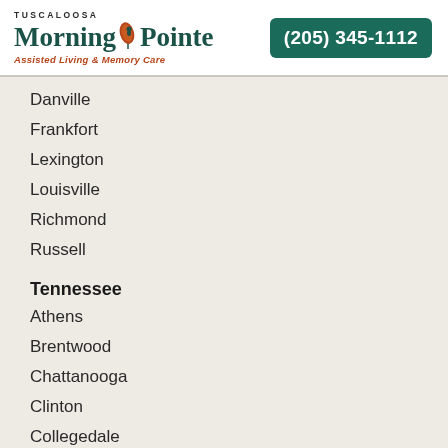[Figure (logo): Tuscaloosa Morning Pointe Assisted Living & Memory Care logo with a leaf/nature emblem]
(205) 345-1112
Danville
Frankfort
Lexington
Louisville
Richmond
Russell
Tennessee
Athens
Brentwood
Chattanooga
Clinton
Collegedale